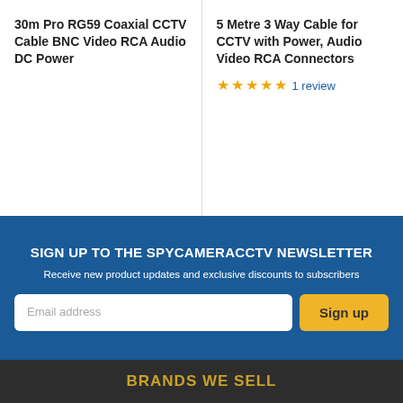30m Pro RG59 Coaxial CCTV Cable BNC Video RCA Audio DC Power
5 Metre 3 Way Cable for CCTV with Power, Audio Video RCA Connectors
★★★★★ 1 review
SIGN UP TO THE SPYCAMERACCTV NEWSLETTER
Receive new product updates and exclusive discounts to subscribers
Email address
Sign up
BRANDS WE SELL